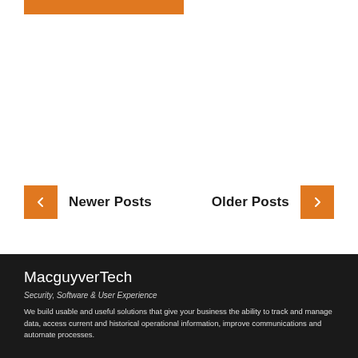[Figure (other): Orange horizontal bar at the top of the page]
← Newer Posts
Older Posts →
MacguyverTech
Security, Software & User Experience
We build usable and useful solutions that give your business the ability to track and manage data, access current and historical operational information, improve communications and automate processes.